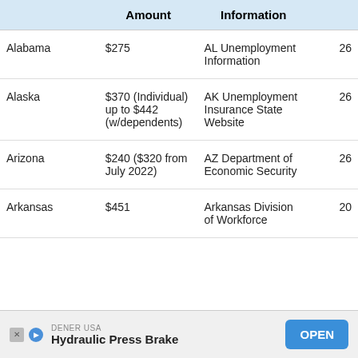|  | Amount | Information |  |
| --- | --- | --- | --- |
| Alabama | $275 | AL Unemployment Information | 26 |
| Alaska | $370 (Individual) up to $442 (w/dependents) | AK Unemployment Insurance State Website | 26 |
| Arizona | $240 ($320 from July 2022) | AZ Department of Economic Security | 26 |
| Arkansas | $451 | Arkansas Division of Workforce | 20 |